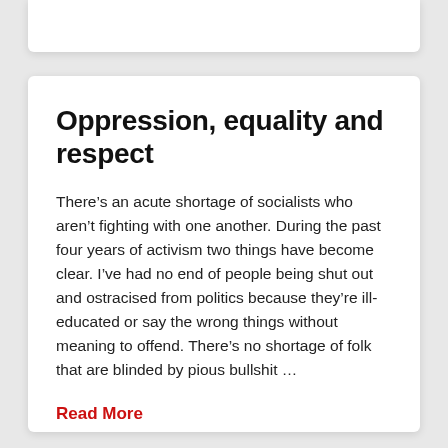Oppression, equality and respect
There’s an acute shortage of socialists who aren’t fighting with one another. During the past four years of activism two things have become clear. I’ve had no end of people being shut out and ostracised from politics because they’re ill-educated or say the wrong things without meaning to offend. There’s no shortage of folk that are blinded by pious bullshit …
Read More